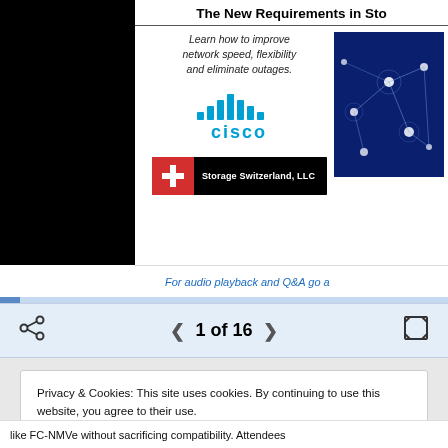The New Requirements in Sto
Learn how to improve network speed, flexibility and eliminate outages.
[Figure (logo): Cisco logo with signal bars icon in blue]
[Figure (logo): Storage Switzerland, LLC banner with red cross icon on black background]
[Figure (photo): Blue network visualization image with glowing nodes and connecting lines]
For audio playback and Q&A go a
1 of 16
Privacy & Cookies: This site uses cookies. By continuing to use this website, you agree to their use.
To find out more, including how to control cookies, see here: Cookie Policy
Close and accept
like FC-NMVe without sacrificing compatibility. Attendees